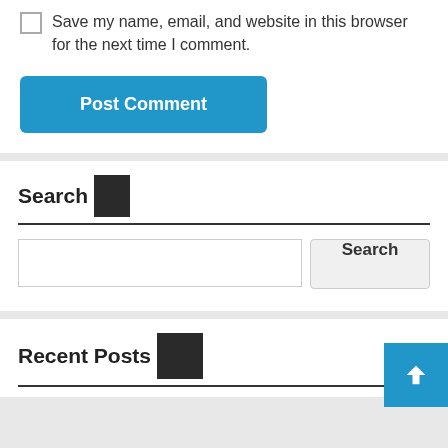Save my name, email, and website in this browser for the next time I comment.
[Figure (screenshot): Post Comment button - blue rounded rectangle with white bold text]
Search
[Figure (screenshot): Search bar with text input field and Search button]
Recent Posts